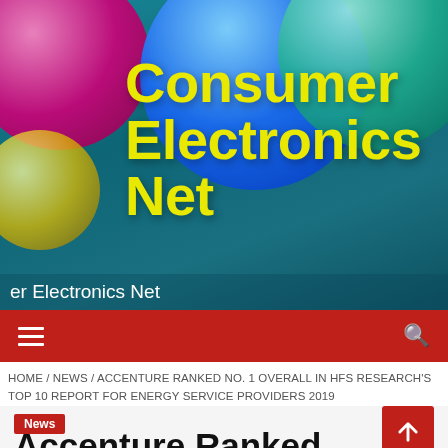[Figure (illustration): Consumer Electronics Net website banner with colorful spheres (pink, blue, teal, yellow-green) on teal background with large yellow bold title text 'Consumer Electronics Net']
Consumer Electronics Net
er Electronics Net
HOME / NEWS / ACCENTURE RANKED NO. 1 OVERALL IN HFS RESEARCH'S TOP 10 REPORT FOR ENERGY SERVICE PROVIDERS 2019
News
Accenture Ranked No. Overall in HFS...